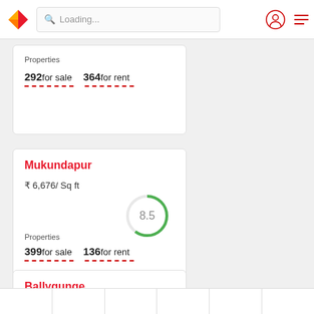Loading...
Properties
292 for sale   364 for rent
Mukundapur
₹ 6,676/ Sq ft
[Figure (other): Circular score gauge showing 8.5]
Properties
399 for sale   136 for rent
Ballygunge